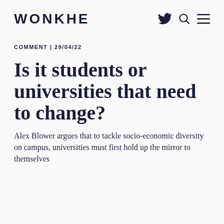WONKHE
COMMENT | 29/04/22
Is it students or universities that need to change?
Alex Blower argues that to tackle socio-economic diversity on campus, universities must first hold up the mirror to themselves